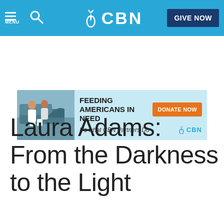MENU | CBN | GIVE NOW
[Figure (infographic): CBN advertisement banner: 'FEEDING AMERICANS IN NEED - DONATE NOW - It's what CBN Partners Do' with photo of people at a food distribution event]
Laura Adams: From the Darkness to the Light